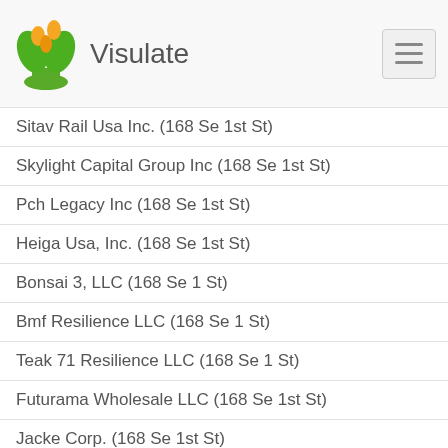Visulate
Sitav Rail Usa Inc. (168 Se 1st St)
Skylight Capital Group Inc (168 Se 1st St)
Pch Legacy Inc (168 Se 1st St)
Heiga Usa, Inc. (168 Se 1st St)
Bonsai 3, LLC (168 Se 1 St)
Bmf Resilience LLC (168 Se 1 St)
Teak 71 Resilience LLC (168 Se 1 St)
Futurama Wholesale LLC (168 Se 1st St)
Jacke Corp. (168 Se 1st St)
Mary E. Kramer, P.A. (168 Southeast 1st St)